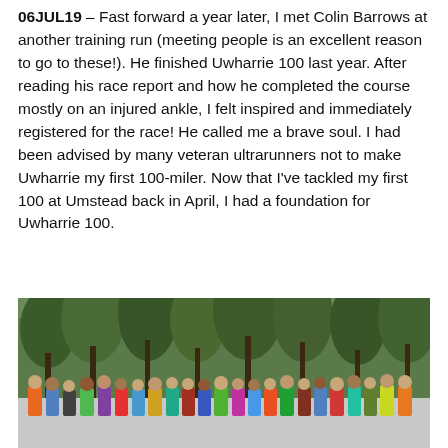06JUL19 – Fast forward a year later, I met Colin Barrows at another training run (meeting people is an excellent reason to go to these!). He finished Uwharrie 100 last year. After reading his race report and how he completed the course mostly on an injured ankle, I felt inspired and immediately registered for the race! He called me a brave soul. I had been advised by many veteran ultrarunners not to make Uwharrie my first 100-miler. Now that I've tackled my first 100 at Umstead back in April, I had a foundation for Uwharrie 100.
[Figure (photo): A group of runners posing together on a road surrounded by tall pine/forest trees, overcast sky in the background.]